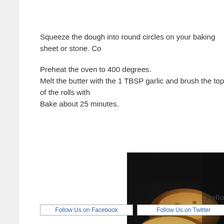Squeeze the dough into round circles on your baking sheet or stone. Cov

Preheat the oven to 400 degrees.
Melt the butter with the 1 TBSP garlic and brush the tops of the rolls with
Bake about 25 minutes.
[Figure (photo): Photo of baked garlic bread rolls on a dark baking pan, golden brown with visible garlic bits on top, viewed from above.]
Follow
Follow Us on Facebook   Follow Us on Twitter